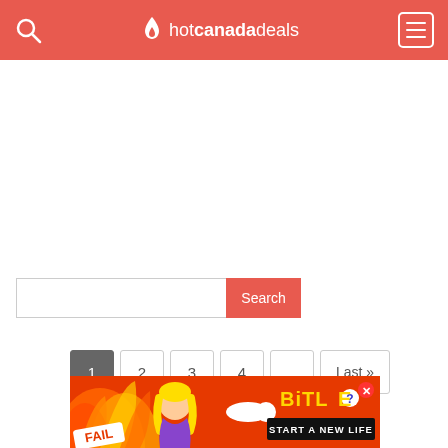hotcanadadeals
1 2 3 4 ... Last »
Search
[Figure (screenshot): BitLife advertisement banner: FAIL badge with cartoon girl and flames on left, BitLife logo with START A NEW LIFE text on right]